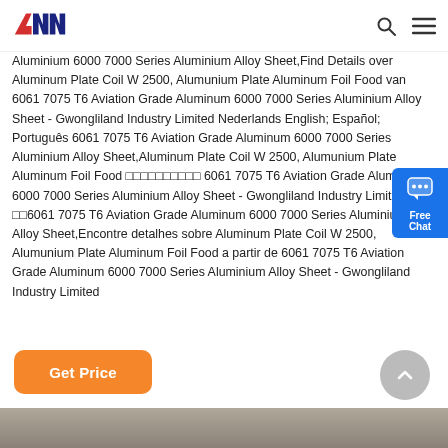ANN [logo] [search icon] [menu icon]
Aluminium 6000 7000 Series Aluminium Alloy Sheet,Find Details over Aluminum Plate Coil W 2500, Alumunium Plate Aluminum Foil Food van 6061 7075 T6 Aviation Grade Aluminum 6000 7000 Series Aluminium Alloy Sheet - Gwongliland Industry Limited Nederlands English; Español; Português 6061 7075 T6 Aviation Grade Aluminum 6000 7000 Series Aluminium Alloy Sheet,Aluminum Plate Coil W 2500, Alumunium Plate Aluminum Foil Food □□□□□□□□□□ 6061 7075 T6 Aviation Grade Aluminum 6000 7000 Series Aluminium Alloy Sheet - Gwongliland Industry Limited □□6061 7075 T6 Aviation Grade Aluminum 6000 7000 Series Aluminium Alloy Sheet,Encontre detalhes sobre Aluminum Plate Coil W 2500, Alumunium Plate Aluminum Foil Food a partir de 6061 7075 T6 Aviation Grade Aluminum 6000 7000 Series Aluminium Alloy Sheet - Gwongliland Industry Limited
[Figure (other): Free Chat widget — blue rounded button on right side]
[Figure (other): Orange Get Price button]
[Figure (other): Grey circular back-to-top arrow button]
[Figure (photo): Bottom strip showing partial product image]